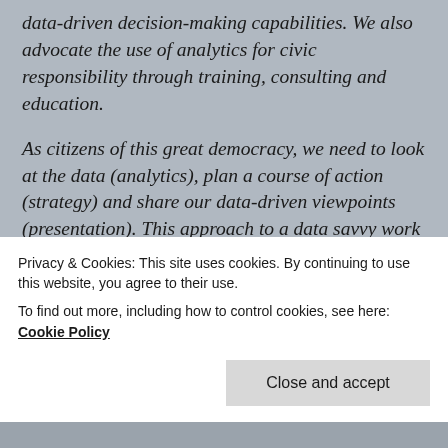data-driven decision-making capabilities. We also advocate the use of analytics for civic responsibility through training, consulting and education.
As citizens of this great democracy, we need to look at the data (analytics), plan a course of action (strategy) and share our data-driven viewpoints (presentation). This approach to a data savvy work force starts in school. So, we started an internship program to empower our youth to use Analytics, plan Strategy and Present their insights... ASP!
When not training current and future analysts, you
Privacy & Cookies: This site uses cookies. By continuing to use this website, you agree to their use.
To find out more, including how to control cookies, see here: Cookie Policy